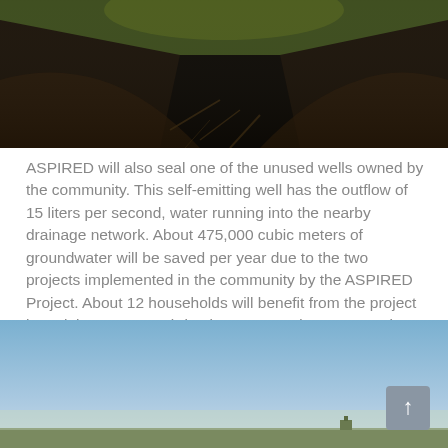[Figure (photo): Aerial or ground-level photo of a drainage channel or ditch in a grassy field with dark soil banks]
ASPIRED will also seal one of the unused wells owned by the community. This self-emitting well has the outflow of 15 liters per second, water running into the nearby drainage network. About 475,000 cubic meters of groundwater will be saved per year due to the two projects implemented in the community by the ASPIRED Project. About 12 households will benefit from the project by gaining access to irrigation water and an opportunity to cultivate their land.
[Figure (photo): Landscape photo showing a flat agricultural field under a clear blue sky with a small structure visible on the horizon]